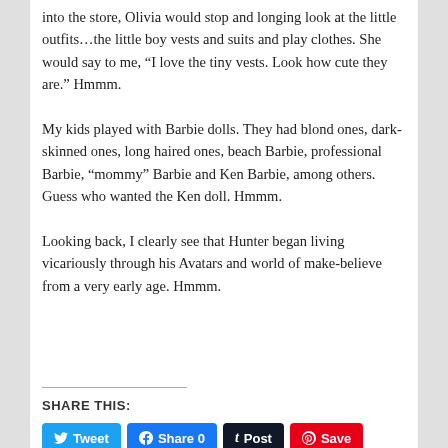into the store, Olivia would stop and longing look at the little outfits…the little boy vests and suits and play clothes. She would say to me, “I love the tiny vests. Look how cute they are.” Hmmm.
My kids played with Barbie dolls. They had blond ones, dark-skinned ones, long haired ones, beach Barbie, professional Barbie, “mommy” Barbie and Ken Barbie, among others. Guess who wanted the Ken doll. Hmmm.
Looking back, I clearly see that Hunter began living vicariously through his Avatars and world of make-believe from a very early age. Hmmm.
SHARE THIS:
[Figure (other): Social share buttons: Tweet (Twitter, blue), Share 0 (Facebook, blue), Post (Tumblr, dark), Save (Pinterest, red)]